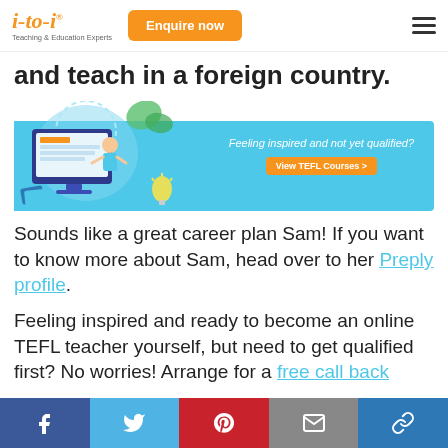i-to-i Teaching & Education Experts | Enquire now
and teach in a foreign country.
[Figure (illustration): Banner with blue background showing a computer screen with a teacher illustration on the left, and text 'Feeling inspired and not yet qualified?' with a 'View TEFL Courses >' button on the right.]
Sounds like a great career plan Sam! If you want to know more about Sam, head over to her Preply profile.
Feeling inspired and ready to become an online TEFL teacher yourself, but need to get qualified first? No worries! Arrange for a free call back
Facebook | Twitter | Pinterest | Email | Link